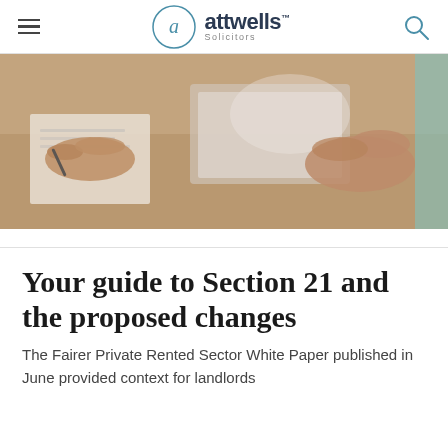attwells Solicitors
[Figure (photo): Two people at a desk with papers and a laptop, hands visible, warm-toned overhead photo]
Your guide to Section 21 and the proposed changes
The Fairer Private Rented Sector White Paper published in June provided context for landlords